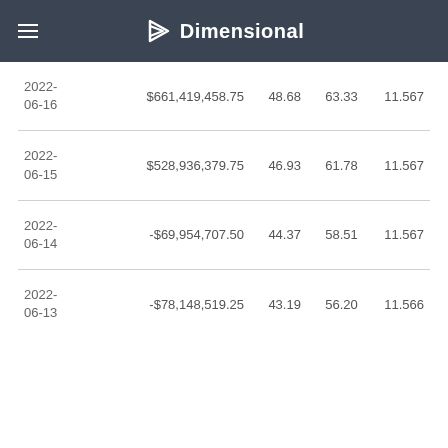Dimensional
| Date | Value | Col3 | Col4 | Col5 |
| --- | --- | --- | --- | --- |
| 2022-06-16 | $661,419,458.75 | 48.68 | 63.33 | 11.567 |
| 2022-06-15 | $528,936,379.75 | 46.93 | 61.78 | 11.567 |
| 2022-06-14 | -$69,954,707.50 | 44.37 | 58.51 | 11.567 |
| 2022-06-13 | -$78,148,519.25 | 43.19 | 56.20 | 11.566 |